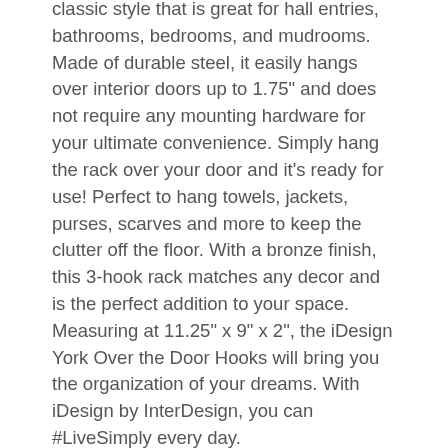classic style that is great for hall entries, bathrooms, bedrooms, and mudrooms. Made of durable steel, it easily hangs over interior doors up to 1.75" and does not require any mounting hardware for your ultimate convenience. Simply hang the rack over your door and it's ready for use! Perfect to hang towels, jackets, purses, scarves and more to keep the clutter off the floor. With a bronze finish, this 3-hook rack matches any decor and is the perfect addition to your space. Measuring at 11.25" x 9" x 2", the iDesign York Over the Door Hooks will bring you the organization of your dreams. With iDesign by InterDesign, you can #LiveSimply every day.
UPC: 81492530947
EAN: 81492530947
Package Dimensions: 11.9 x 11.7 x 7.3 inches